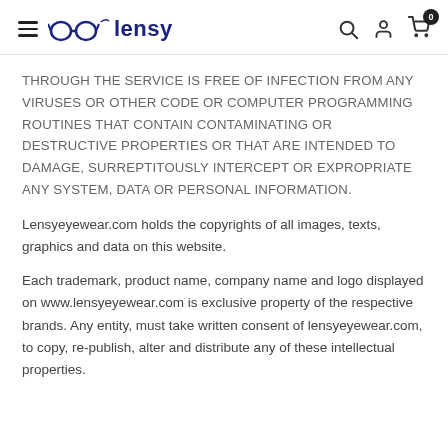lensy
THROUGH THE SERVICE IS FREE OF INFECTION FROM ANY VIRUSES OR OTHER CODE OR COMPUTER PROGRAMMING ROUTINES THAT CONTAIN CONTAMINATING OR DESTRUCTIVE PROPERTIES OR THAT ARE INTENDED TO DAMAGE, SURREPTITOUSLY INTERCEPT OR EXPROPRIATE ANY SYSTEM, DATA OR PERSONAL INFORMATION.
Lensyeyewear.com holds the copyrights of all images, texts, graphics and data on this website.
Each trademark, product name, company name and logo displayed on www.lensyeyewear.com is exclusive property of the respective brands. Any entity, must take written consent of lensyeyewear.com, to copy, re-publish, alter and distribute any of these intellectual properties.